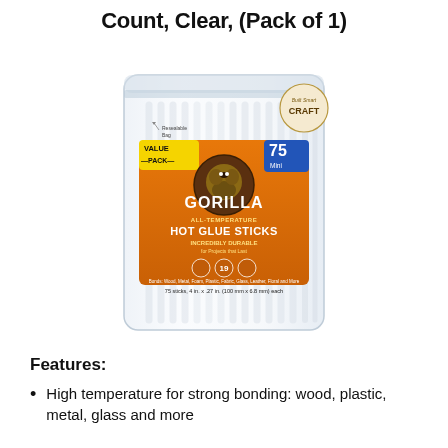Count, Clear, (Pack of 1)
[Figure (photo): Gorilla Hot Glue Sticks product package - a clear resealable bag containing 75 mini hot glue sticks with an orange and blue label showing 'VALUE PACK', '75 Mini', 'GORILLA', 'ALL-TEMPERATURE HOT GLUE STICKS', and '75 sticks, 4 in. x .27 in. (100 mm x 6.8 mm) each'. The bag has a 'Built Smart CRAFT' badge.]
Features:
High temperature for strong bonding: wood, plastic, metal, glass and more